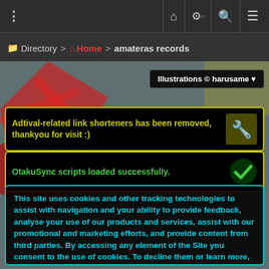⋮   🏠  ⚙  🔍  ≡
📁 Directory > 🏠 Home > amateras records
Illustrations © harusame ♥
Adtival-related link shorteners has been removed, thankyou for visit :)
OtakuSync scripts loaded successfully.
This site uses cookies and other tracking technologies to assist with navigation and your ability to provide feedback, analyse your use of our products and services, assist with our promotional and marketing efforts, and provide content from third parties. By accessing any element of the Site you consent to the use of cookies. To decline them or learn more, visit our Cookie Policy page.